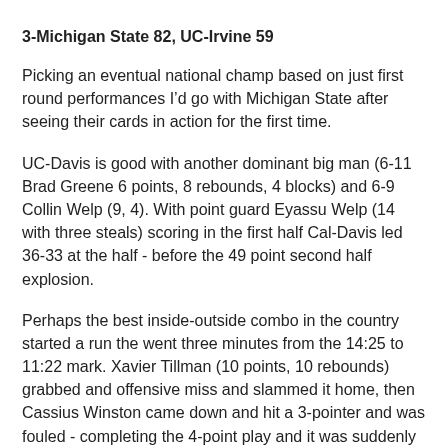3-Michigan State 82, UC-Irvine 59
Picking an eventual national champ based on just first round performances I’d go with Michigan State after seeing their cards in action for the first time.
UC-Davis is good with another dominant big man (6-11 Brad Greene 6 points, 8 rebounds, 4 blocks) and 6-9 Collin Welp (9, 4). With point guard Eyassu Welp (14 with three steals) scoring in the first half Cal-Davis led 36-33 at the half - before the 49 point second half explosion.
Perhaps the best inside-outside combo in the country started a run the went three minutes from the 14:25 to 11:22 mark. Xavier Tillman (10 points, 10 rebounds) grabbed and offensive miss and slammed it home, then Cassius Winston came down and hit a 3-pointer and was fouled - completing the 4-point play and it was suddenly 54-42.